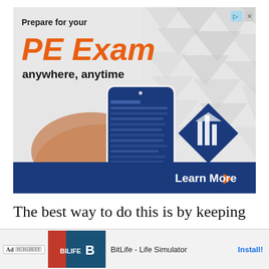[Figure (screenshot): Advertisement banner for School of PE – 'Prepare for your PE Exam anywhere, anytime' with a hand holding a smartphone displaying a blue app interface, School of PE logo (diamond building icon), and a dark blue 'Learn More' button bar at the bottom. Top right shows ad indicator icons.]
The best way to do this is by keeping a Google Doc or notebook nearby and jotting down the problems that you struggle with as
[Figure (screenshot): Bottom mobile ad banner: 'Ad' badge, BitLife - Life Simulator app ad with red/blue graphic, 'Install!' button in blue.]